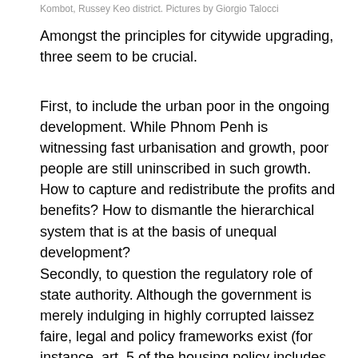Kombot, Russey Keo district. Pictures by Giorgio Talocci
Amongst the principles for citywide upgrading, three seem to be crucial.
First, to include the urban poor in the ongoing development. While Phnom Penh is witnessing fast urbanisation and growth, poor people are still uninscribed in such growth. How to capture and redistribute the profits and benefits? How to dismantle the hierarchical system that is at the basis of unequal development?
Secondly, to question the regulatory role of state authority. Although the government is merely indulging in highly corrupted laissez faire, legal and policy frameworks exist (for instance, art. 5 of the housing policy includes onsite upgrading). The question is how to